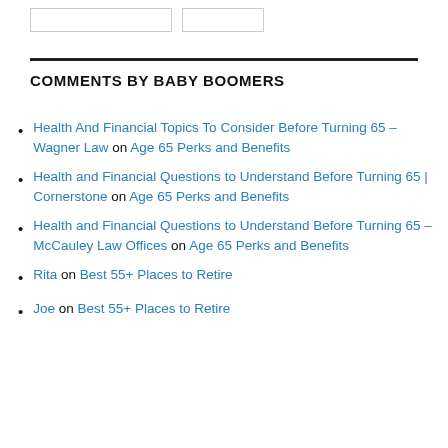COMMENTS BY BABY BOOMERS
Health And Financial Topics To Consider Before Turning 65 – Wagner Law on Age 65 Perks and Benefits
Health and Financial Questions to Understand Before Turning 65 | Cornerstone on Age 65 Perks and Benefits
Health and Financial Questions to Understand Before Turning 65 – McCauley Law Offices on Age 65 Perks and Benefits
Rita on Best 55+ Places to Retire
Joe on Best 55+ Places to Retire